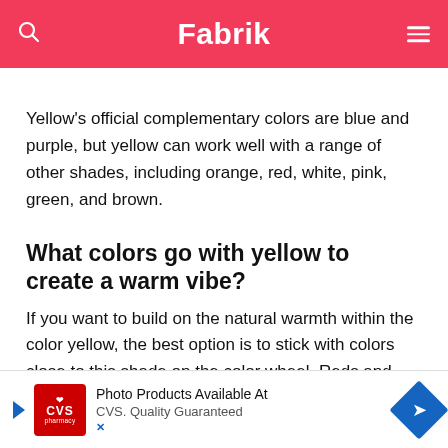Fabrik
Yellow's official complementary colors are blue and purple, but yellow can work well with a range of other shades, including orange, red, white, pink, green, and brown.
What colors go with yellow to create a warm vibe?
If you want to build on the natural warmth within the color yellow, the best option is to stick with colors close to this shade on the color wheel. Reds and oranges are perfect… owns can be…
[Figure (screenshot): CVS Pharmacy advertisement banner: Photo Products Available At CVS. Quality Guaranteed.]